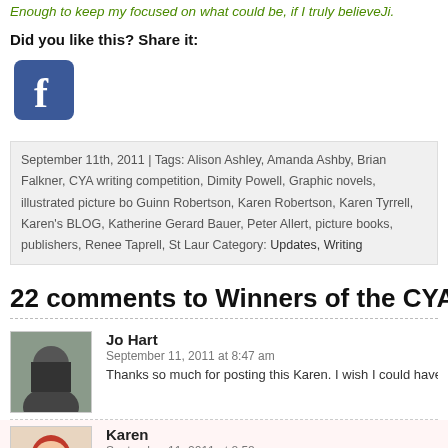Enough to keep my focused on what could be, if I truly believeJi.
Did you like this? Share it:
[Figure (logo): Facebook share button icon - blue rounded square with white 'f' letter]
September 11th, 2011 | Tags: Alison Ashley, Amanda Ashby, Brian Falkner, CYA writing competition, Dimity Powell, Graphic novels, illustrated picture books, Guinn Robertson, Karen Robertson, Karen Tyrrell, Karen's BLOG, Katherine Gerard Bauer, Peter Allert, picture books, publishers, Renee Taprell, St Laur Category: Updates, Writing
22 comments to Winners of the CYA W
Jo Hart
September 11, 2011 at 8:47 am
Thanks so much for posting this Karen. I wish I could have bee
Karen
September 11, 2011 at 8:58 am